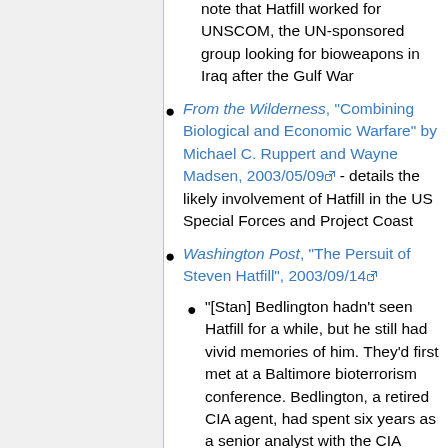note that Hatfill worked for UNSCOM, the UN-sponsored group looking for bioweapons in Iraq after the Gulf War
From the Wilderness, "Combining Biological and Economic Warfare" by Michael C. Ruppert and Wayne Madsen, 2003/05/09 - details the likely involvement of Hatfill in the US Special Forces and Project Coast
Washington Post, "The Persuit of Steven Hatfill", 2003/09/14
"[Stan] Bedlington hadn't seen Hatfill for a while, but he still had vivid memories of him. They'd first met at a Baltimore bioterrorism conference. Bedlington, a retired CIA agent, had spent six years as a senior analyst with the CIA Counter-